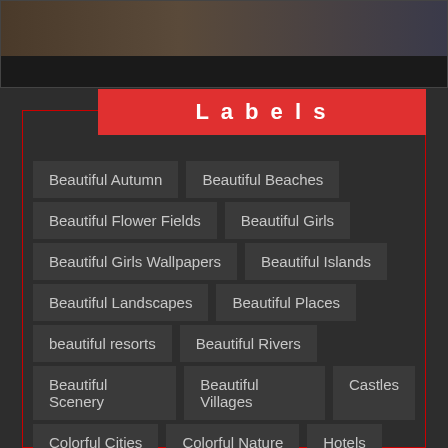[Figure (photo): Top image strip showing partial photos]
Labels
Beautiful Autumn
Beautiful Beaches
Beautiful Flower Fields
Beautiful Girls
Beautiful Girls Wallpapers
Beautiful Islands
Beautiful Landscapes
Beautiful Places
beautiful resorts
Beautiful Rivers
Beautiful Scenery
Beautiful Villages
Castles
Colorful Cities
Colorful Nature
Hotels
Mobile Wallpapers
Northern Lights
Scenic drives